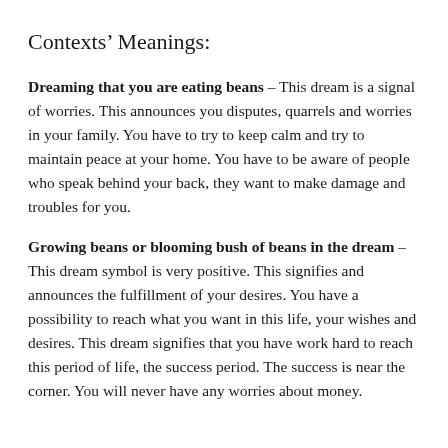Contexts' Meanings:
Dreaming that you are eating beans – This dream is a signal of worries. This announces you disputes, quarrels and worries in your family. You have to try to keep calm and try to maintain peace at your home. You have to be aware of people who speak behind your back, they want to make damage and troubles for you.
Growing beans or blooming bush of beans in the dream – This dream symbol is very positive. This signifies and announces the fulfillment of your desires. You have a possibility to reach what you want in this life, your wishes and desires. This dream signifies that you have work hard to reach this period of life, the success period. The success is near the corner. You will never have any worries about money.